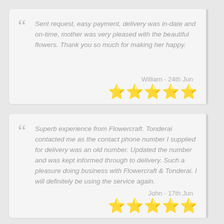Sent request, easy payment, delivery was in-date and on-time, mother was very pleased with the beautiful flowers. Thank you so much for making her happy. — William - 24th Jun ★★★★★
Superb experience from Flowercraft. Tonderai contacted me as the contact phone number I supplied for delivery was an old number. Updated the number and was kept informed through to delivery. Such a pleasure doing business with Flowercraft & Tonderai. I will definitely be using the service again. — John - 17th Jun ★★★★★